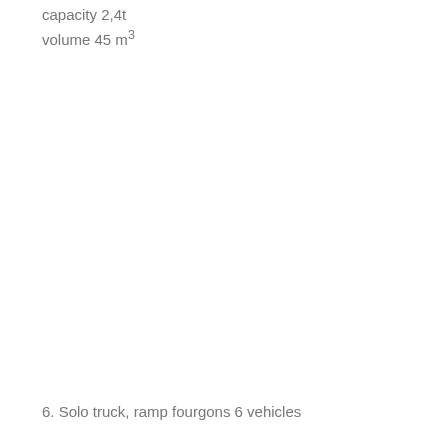capacity 2,4t
volume 45 m³
6. Solo truck, ramp fourgons 6 vehicles